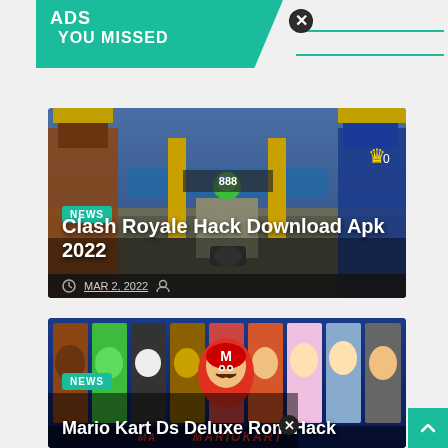ADS YOU MISSED
[Figure (screenshot): Clash Royale game screenshot showing arena battle]
NEWS
Clash Royale Hack Download Apk 2022
MAR 2, 2022
[Figure (screenshot): Mario Kart Ds Deluxe character select screen]
NEWS
Mario Kart Ds Deluxe Rom Hack